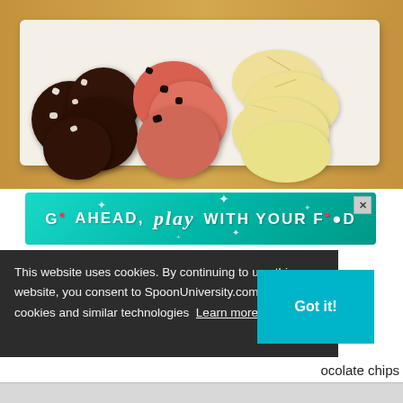[Figure (photo): Photograph of three types of cookies arranged on white parchment paper on a wooden surface: dark chocolate cookies with white chips on the left, pink/red cookies in the center, and light yellow/lemon cookies on the right.]
[Figure (other): Advertisement banner with teal/cyan gradient background reading 'GO AHEAD, play WITH YOUR FOOD' with sparkle decorations and a close button.]
This website uses cookies. By continuing to use this website, you consent to SpoonUniversity.com's usage of cookies and similar technologies Learn more
Got it!
ocolate chips